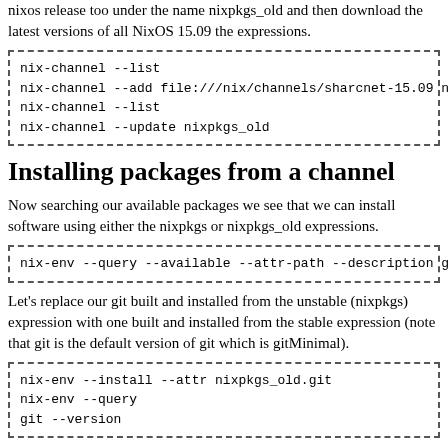nixos release too under the name nixpkgs_old and then download the latest versions of all NixOS 15.09 the expressions.
[Figure (screenshot): Code block with dashed border containing: nix-channel --list
nix-channel --add file:///nix/channels/sharcnet-15.09 nixpkgs_old
nix-channel --list
nix-channel --update nixpkgs_old]
Installing packages from a channel
Now searching our available packages we see that we can install software using either the nixpkgs or nixpkgs_old expressions.
[Figure (screenshot): Code block with dashed border containing: nix-env --query --available --attr-path --description git]
Let's replace our git built and installed from the unstable (nixpkgs) expression with one built and installed from the stable expression (note that git is the default version of git which is gitMinimal).
[Figure (screenshot): Code block with dashed border containing: nix-env --install --attr nixpkgs_old.git
nix-env --query
git --version]
What does the channel config file